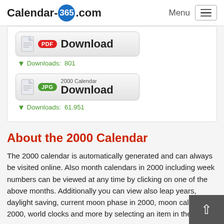Calendar-365.com  Menu
[Figure (screenshot): PDF Download button for calendar]
Downloads: 801
[Figure (screenshot): JPG Download button for 2000 Calendar]
Downloads: 61.951
About the 2000 Calendar
The 2000 calendar is automatically generated and can always be visited online. Also month calendars in 2000 including week numbers can be viewed at any time by clicking on one of the above months. Additionally you can view also leap years, daylight saving, current moon phase in 2000, moon calendar 2000, world clocks and more by selecting an item in the menu above.